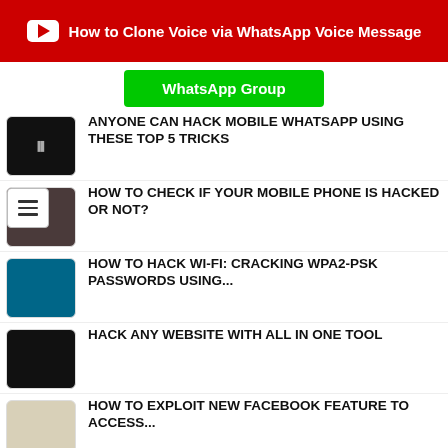[Figure (screenshot): YouTube banner with play button icon and text: How to Clone Voice via WhatsApp Voice Message]
WhatsApp Group
ANYONE CAN HACK MOBILE WHATSAPP USING THESE TOP 5 TRICKS
HOW TO CHECK IF YOUR MOBILE PHONE IS HACKED OR NOT?
HOW TO HACK WI-FI: CRACKING WPA2-PSK PASSWORDS USING...
HACK ANY WEBSITE WITH ALL IN ONE TOOL
HOW TO EXPLOIT NEW FACEBOOK FEATURE TO ACCESS...
CREATE YOUR OWN BOTNET (STEP BY STEP TUTORIAL)
HACK WINDOWS, ANDROID, MAC USING THEFATRAT (STEP BY...
REVENGE YOUR NEIGHBOR'S PARTY BY JAMMING